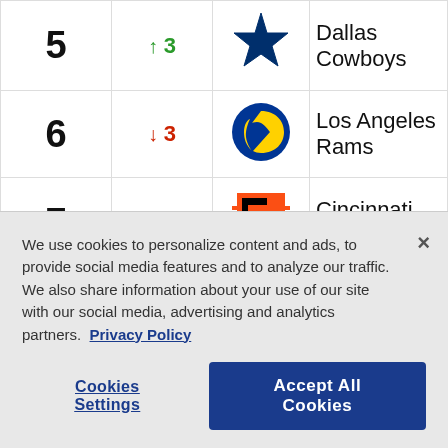| Rank | Change | Logo | Team |
| --- | --- | --- | --- |
| 5 | ↑ 3 | [Dallas Cowboys logo] | Dallas Cowboys |
| 6 | ↓ 3 | [Los Angeles Rams logo] | Los Angeles Rams |
| 7 | - | [Cincinnati Bengals logo] | Cincinnati Bengals |
| 8 | ↑ 1 | [Buffalo Bills logo] | Buffalo Bills |
| 9 | ↓ ? | [Arizona Cardinals logo] | Arizona Cardinals |
We use cookies to personalize content and ads, to provide social media features and to analyze our traffic. We also share information about your use of our site with our social media, advertising and analytics partners. Privacy Policy